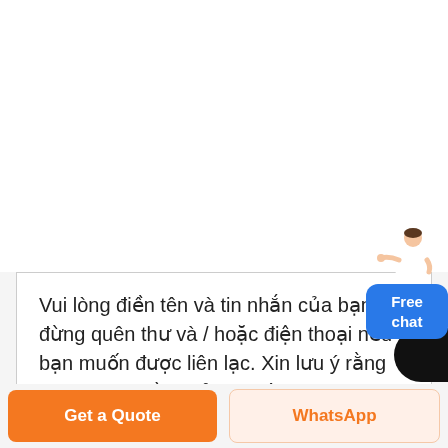[Figure (illustration): A customer service person figure with a blue 'Free chat' button widget in the top right corner]
Vui lòng điền tên và tin nhắn của bạn và đừng quên thư và / hoặc điện thoại nếu bạn muốn được liên lạc. Xin lưu ý rằng bạn không cần phải có một chương trình thư để sử dụng chức năng này.
Get a Quote
WhatsApp